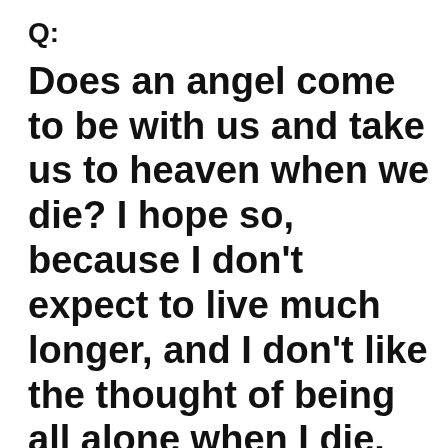Q:
Does an angel come to be with us and take us to heaven when we die? I hope so, because I don't expect to live much longer, and I don't like the thought of being all alone when I die.